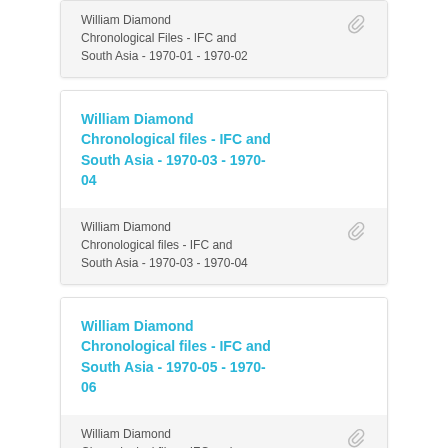William Diamond Chronological Files - IFC and South Asia - 1970-01 - 1970-02
William Diamond Chronological files - IFC and South Asia - 1970-03 - 1970-04
William Diamond Chronological files - IFC and South Asia - 1970-05 - 1970-06